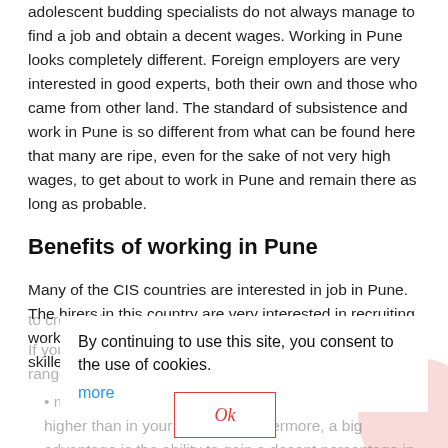adolescent budding specialists do not always manage to find a job and obtain a decent wages. Working in Pune looks completely different. Foreign employers are very interested in good experts, both their own and those who came from other land. The standard of subsistence and work in Pune is so different from what can be found here that many are ripe, even for the sake of not very high wages, to get about to work in Pune and remain there as long as probable.
Benefits of working in Pune
Many of the CIS countries are interested in job in Pune. The hirers in this country are very interested in recruiting workers from abroad for a variety of works, from highly skilled mavens to crop pickers.
By continuing to use this site, you consent to the use of cookies.
more
Ok